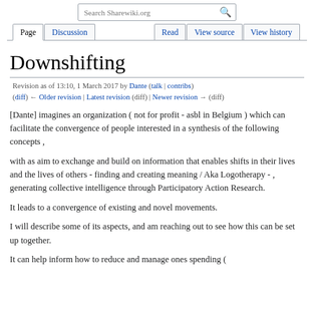Search Sharewiki.org | Page | Discussion | Read | View source | View history
Downshifting
Revision as of 13:10, 1 March 2017 by Dante (talk | contribs)
(diff) ← Older revision | Latest revision (diff) | Newer revision → (diff)
[Dante] imagines an organization ( not for profit - asbl in Belgium ) which can facilitate the convergence of people interested in a synthesis of the following concepts ,
with as aim to exchange and build on information that enables shifts in their lives and the lives of others - finding and creating meaning / Aka Logotherapy - , generating collective intelligence through Participatory Action Research.
It leads to a convergence of existing and novel movements.
I will describe some of its aspects, and am reaching out to see how this can be set up together.
It can help inform how to reduce and manage ones spending (